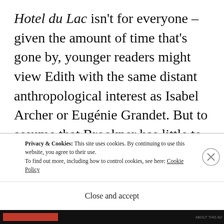Hotel du Lac isn't for everyone – given the amount of time that's gone by, younger readers might view Edith with the same distant anthropological interest as Isabel Archer or Eugénie Grandet. But to assume that Brookner has little to tell us about the way women (and men) live now is quite wrong. She's alertly, thrillingly alive to what it is to is to be human; to have desire and experience frustrations a…
Privacy & Cookies: This site uses cookies. By continuing to use this website, you agree to their use.
To find out more, including how to control cookies, see here: Cookie Policy
Close and accept